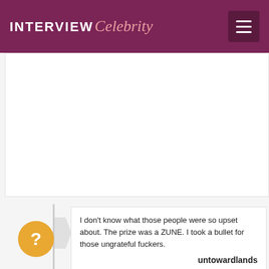INTERVIEW Celebrity
[Figure (other): White blank content area, likely an advertisement or image placeholder]
I don't know what those people were so upset about. The prize was a ZUNE. I took a bullet for those ungrateful fuckers.
untowardlands